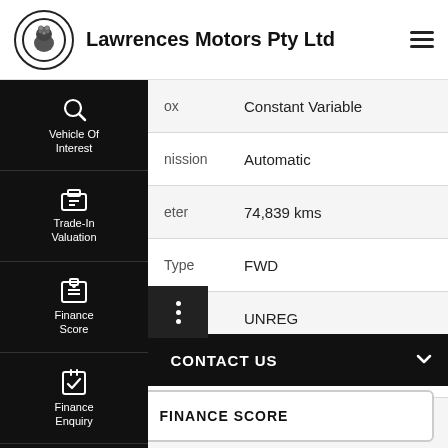Lawrences Motors Pty Ltd
| Field | Value |
| --- | --- |
| ox | Constant Variable |
| nission | Automatic |
| eter | 74,839 kms |
| Type | FWD |
|  | UNREG |
| No | U201590 |
|  | JTNKU3JE70J083070 |
CONTACT US
FINANCE SCORE